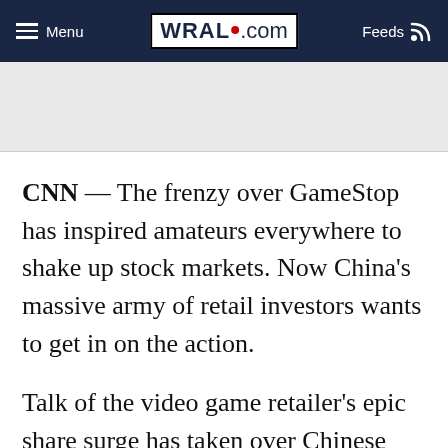Menu | WRAL.com | Feeds
[Figure (other): Gray advertisement banner area]
CNN — The frenzy over GameStop has inspired amateurs everywhere to shake up stock markets. Now China's massive army of retail investors wants to get in on the action.
Talk of the video game retailer's epic share surge has taken over Chinese social media and the eye-popping gains in that stock and others have become the envy of the